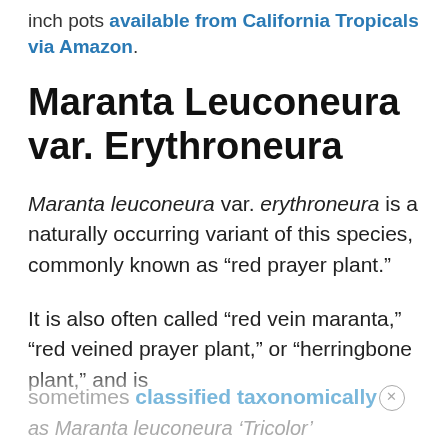inch pots available from California Tropicals via Amazon.
Maranta Leuconeura var. Erythroneura
Maranta leuconeura var. erythroneura is a naturally occurring variant of this species, commonly known as “red prayer plant.”
It is also often called “red vein maranta,” “red veined prayer plant,” or “herringbone plant,” and is sometimes classified taxonomically as Maranta leuconeura ‘Tricolor’